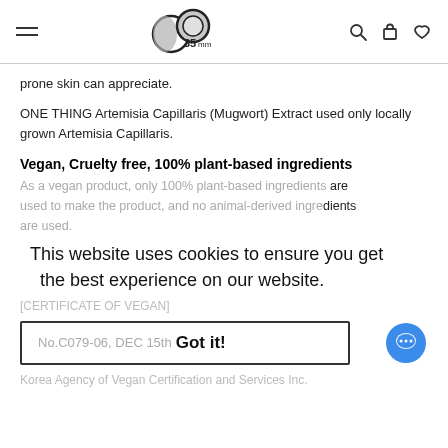35mm store header with logo, hamburger menu, search, cart, and heart icons
prone skin can appreciate.
ONE THING Artemisia Capillaris (Mugwort) Extract used only locally grown Artemisia Capillaris.
Vegan, Cruelty free, 100% plant-based ingredients
As a vegan product, only 100% plant-based ingredients are used to make the product, and no animal-derived ingredients are used.
This website uses cookies to ensure you get the best experience on our website.
[CERTIFICATE OF VEGAN]
No.C079-06, DEC 15th 2020     Got it!
Korea Agency of Vegan Certification and Services Inc.